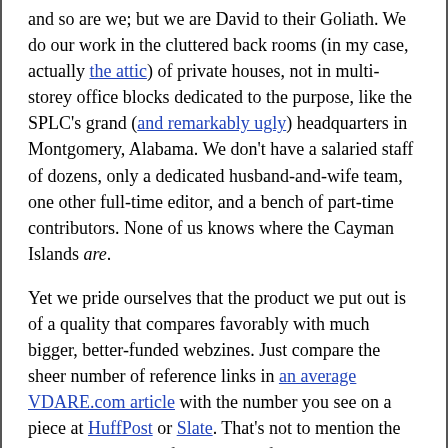and so are we; but we are David to their Goliath. We do our work in the cluttered back rooms (in my case, actually the attic) of private houses, not in multi-storey office blocks dedicated to the purpose, like the SPLC's grand (and remarkably ugly) headquarters in Montgomery, Alabama. We don't have a salaried staff of dozens, only a dedicated husband-and-wife team, one other full-time editor, and a bench of part-time contributors. None of us knows where the Cayman Islands are.

Yet we pride ourselves that the product we put out is of a quality that compares favorably with much bigger, better-funded webzines. Just compare the sheer number of reference links in an average VDARE.com article with the number you see on a piece at HuffPost or Slate. That's not to mention the SPLC, whose long-form pieces often